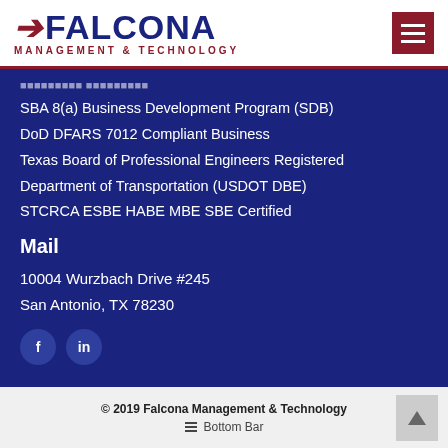FALCONA MANAGEMENT & TECHNOLOGY
SBA 8(a) Business Development Program (SDB)
DoD DFARS 7012 Compliant Business
Texas Board of Professional Engineers Registered
Department of Transportation (USDOT DBE)
STCRCA ESBE HABE MBE SBE Certified
Mail
10004 Wurzbach Drive #245
San Antonio, TX 78230
[Figure (other): Social media icons: Facebook (f) and LinkedIn (in)]
© 2019 Falcona Management & Technology
≡ Bottom Bar